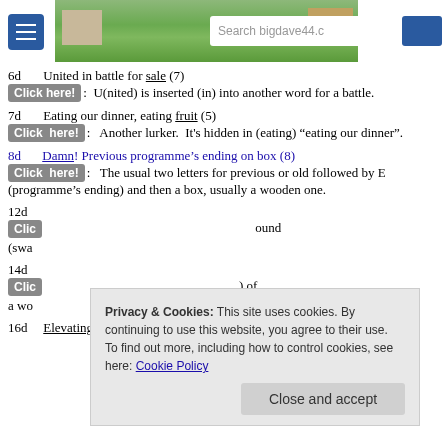bigdave44.co — Search bar and navigation header
6d   United in battle for sale (7)
Click here!: U(nited) is inserted (in) into another word for a battle.
7d   Eating our dinner, eating fruit (5)
Click here!: Another lurker. It's hidden in (eating) "eating our dinner".
8d   Damn! Previous programme's ending on box (8)
Click here!: The usual two letters for previous or old followed by E (programme's ending) and then a box, usually a wooden one.
12d  [partially obscured]
14d  [partially obscured]
16d   Elevating one rising accepting new finery (9)
Privacy & Cookies: This site uses cookies. By continuing to use this website, you agree to their use. To find out more, including how to control cookies, see here: Cookie Policy
Close and accept